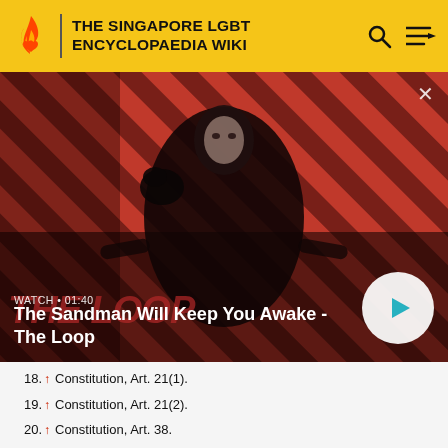THE SINGAPORE LGBT ENCYCLOPAEDIA WIKI
[Figure (screenshot): Video thumbnail for 'The Sandman Will Keep You Awake - The Loop' showing a dark figure with a raven on their shoulder against a red diagonal striped background. Shows WATCH · 01:40 label and a play button.]
18. ↑ Constitution, Art. 21(1).
19. ↑ Constitution, Art. 21(2).
20. ↑ Constitution, Art. 38.
21. ↑ Constitution, Art. 58(1).
22. ↑ Constitution, Art. 21(2)(c).